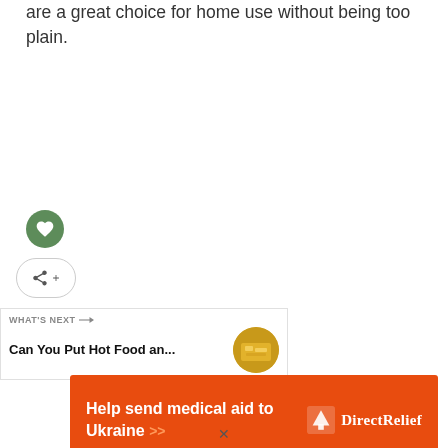are a great choice for home use without being too plain.
[Figure (illustration): Green circular heart/favorite button icon]
[Figure (illustration): White circular share button icon with share symbol and plus]
WHAT'S NEXT → Can You Put Hot Food an...
[Figure (photo): Small circular thumbnail of hot food dish]
[Figure (infographic): Orange advertisement banner: Help send medical aid to Ukraine >> with Direct Relief logo]
×